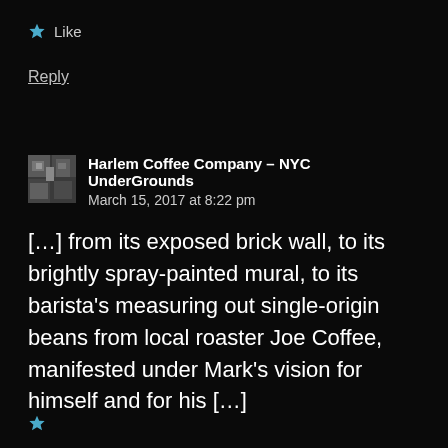★ Like
Reply
Harlem Coffee Company – NYC UnderGrounds
March 15, 2017 at 8:22 pm
[…] from its exposed brick wall, to its brightly spray-painted mural, to its barista's measuring out single-origin beans from local roaster Joe Coffee, manifested under Mark's vision for himself and for his […]